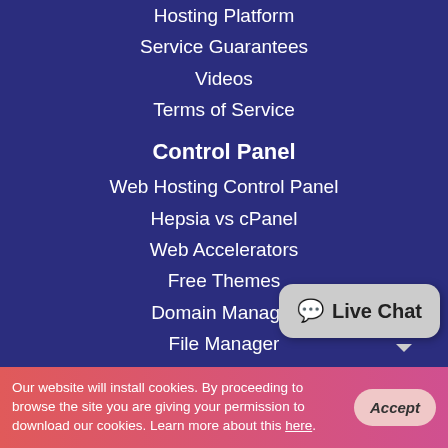Hosting Platform
Service Guarantees
Videos
Terms of Service
Control Panel
Web Hosting Control Panel
Hepsia vs cPanel
Web Accelerators
Free Themes
Domain Manager
File Manager
Hepsia Email Manager
Stats Manager
Database Manager
Site Generation Application
Website Installer
[Figure (other): Live Chat button bubble in bottom right corner]
Our website will install cookies. By proceeding to browse the site you are giving your permission to download our cookies. Learn more about this here.